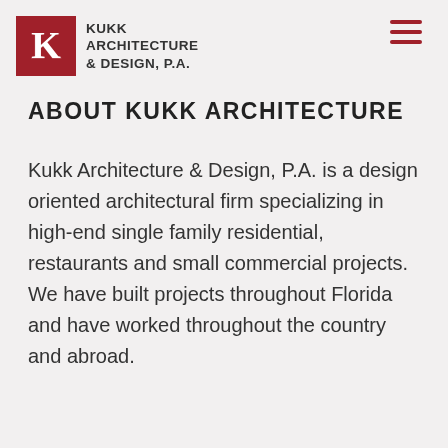KUKK ARCHITECTURE & DESIGN, P.A.
ABOUT KUKK ARCHITECTURE
Kukk Architecture & Design, P.A. is a design oriented architectural firm specializing in high-end single family residential, restaurants and small commercial projects. We have built projects throughout Florida and have worked throughout the country and abroad.